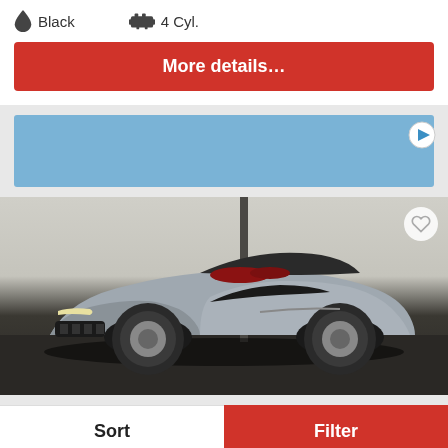Black   4 Cyl.
More details…
[Figure (screenshot): Blue advertisement banner with play button icon in top-right corner]
[Figure (photo): Silver Chevrolet Camaro convertible with red interior, parked in a garage/showroom setting, top down]
Sort
Filter